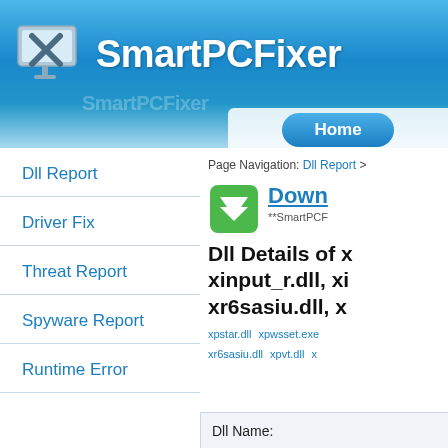[Figure (logo): SmartPCFixer logo with monitor and wrench/cross icon on blue gradient background]
Home
Dll Report
Driver Fix
Threat Report
Spyware Report
Runtime Error
Page Navigation: Dll Report >
[Figure (logo): Green double-chevron download icon]
Down
**SmartPCF
Dll Details of x xinput_r.dll, xi xr6sasiu.dll, x
xpstar.dll   xpwsset.exe   xr6sasiu.dll   xpvt.dll   x
| Dll Name: |
| --- |